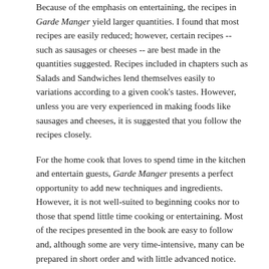Because of the emphasis on entertaining, the recipes in Garde Manger yield larger quantities. I found that most recipes are easily reduced; however, certain recipes -- such as sausages or cheeses -- are best made in the quantities suggested. Recipes included in chapters such as Salads and Sandwiches lend themselves easily to variations according to a given cook's tastes. However, unless you are very experienced in making foods like sausages and cheeses, it is suggested that you follow the recipes closely.
For the home cook that loves to spend time in the kitchen and entertain guests, Garde Manger presents a perfect opportunity to add new techniques and ingredients. However, it is not well-suited to beginning cooks nor to those that spend little time cooking or entertaining. Most of the recipes presented in the book are easy to follow and, although some are very time-intensive, many can be prepared in short order and with little advanced notice.
To give you some ideas about the recipes included in Garde Manger: The Art and Craft of the Cold Kitchen, here is a